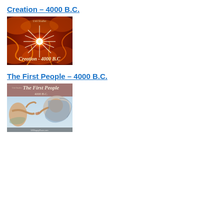Creation – 4000 B.C.
[Figure (illustration): Book cover thumbnail for 'Creation - 4000 B.C.' showing a fiery cosmic explosion with bright star burst in orange and red tones, with stylized text overlay.]
The First People – 4000 B.C.
[Figure (illustration): Book cover thumbnail for 'The First People - 4000 B.C.' showing Michelangelo's Creation of Adam fresco, with two figures reaching toward each other, on a pinkish-brown banner with stylized text.]